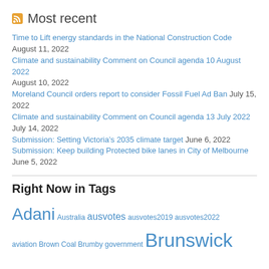Most recent
Time to Lift energy standards in the National Construction Code August 11, 2022
Climate and sustainability Comment on Council agenda 10 August 2022 August 10, 2022
Moreland Council orders report to consider Fossil Fuel Ad Ban July 15, 2022
Climate and sustainability Comment on Council agenda 13 July 2022 July 14, 2022
Submission: Setting Victoria's 2035 climate target June 6, 2022
Submission: Keep building Protected bike lanes in City of Melbourne June 5, 2022
Right Now in Tags
Adani Australia ausvotes ausvotes2019 ausvotes2022 aviation Brown Coal Brumby government Brunswick